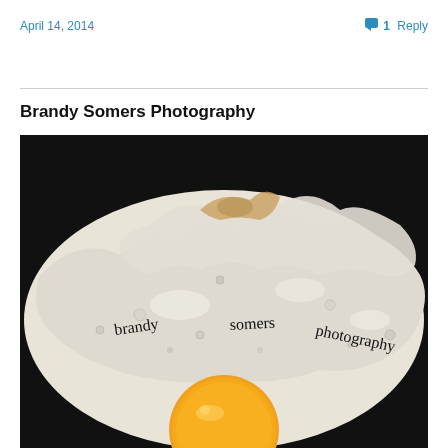April 14, 2014
1 Reply
Brandy Somers Photography
[Figure (photo): Close-up macro photograph of a fried egg cooking in a dark pan, showing the white egg white with bubbles and a bright orange yolk visible at the bottom. The text 'brandy somers photography' is handwritten across the egg white in black ink.]